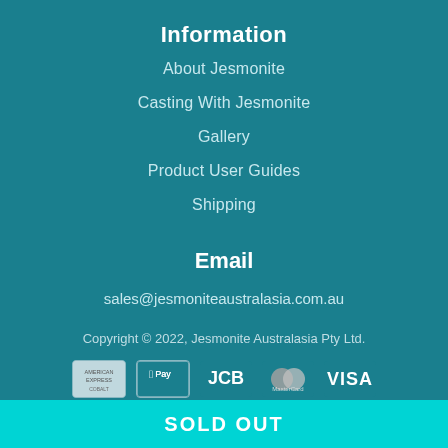Information
About Jesmonite
Casting With Jesmonite
Gallery
Product User Guides
Shipping
Email
sales@jesmoniteaustralasia.com.au
Copyright © 2022, Jesmonite Australasia Pty Ltd.
[Figure (logo): Payment method icons: American Express, Apple Pay, JCB, MasterCard, Visa]
SOLD OUT